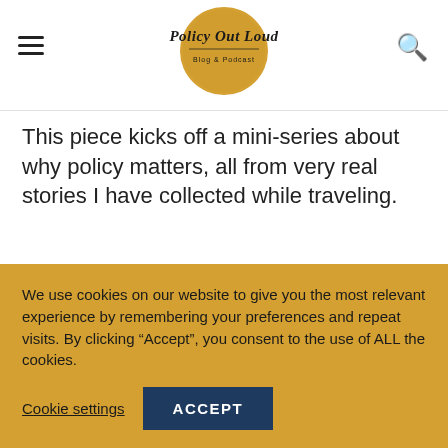[Figure (logo): Policy Out Loud blog and podcast logo — a golden speech bubble circle with the text 'Policy Out Loud' in bold script and 'Blog & Podcast' below in smaller text]
This piece kicks off a mini-series about why policy matters, all from very real stories I have collected while traveling.
A partial line of text beginning below, partially obscured by cookie banner
We use cookies on our website to give you the most relevant experience by remembering your preferences and repeat visits. By clicking “Accept”, you consent to the use of ALL the cookies.
Cookie settings
ACCEPT